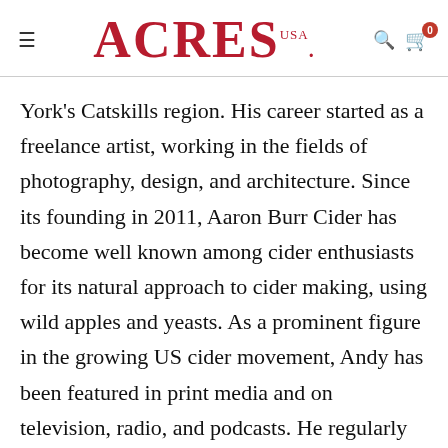ACRES USA
York's Catskills region. His career started as a freelance artist, working in the fields of photography, design, and architecture. Since its founding in 2011, Aaron Burr Cider has become well known among cider enthusiasts for its natural approach to cider making, using wild apples and yeasts. As a prominent figure in the growing US cider movement, Andy has been featured in print media and on television, radio, and podcasts. He regularly speaks about natural apple growing and cider production at museums, trade events, festivals, restaurants, and anywhere